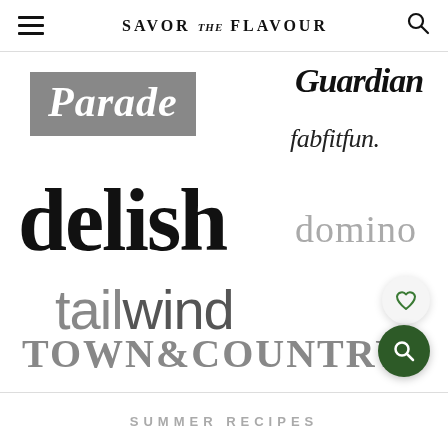SAVOR THE FLAVOUR
[Figure (illustration): Collage of media brand logos including Parade, Guardian, fabfitfun, delish, domino, tailwind, TOWN&COUNTRY on a white background with floating heart and search buttons]
SUMMER RECIPES